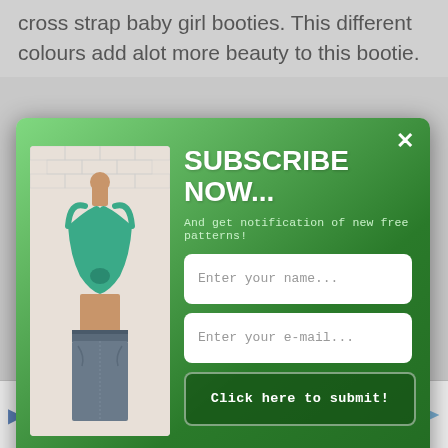cross strap baby girl booties. This different colours add alot more beauty to this bootie.
[Figure (screenshot): Subscribe popup modal over a webpage background. Modal has green gradient background, shows a mannequin wearing a teal crochet halter top, with title 'SUBSCRIBE NOW...', subtitle 'And get notification of new free patterns!', two input fields for name and email, and a submit button. Background text reads about baby girl booties.]
SUBSCRIBE NOW...
And get notification of new free patterns!
Enter your name...
Enter your e-mail...
Click here to submit!
Ashburn  OPEN 9AM–6PM
44110 Ashburn Shopping Plaza ...